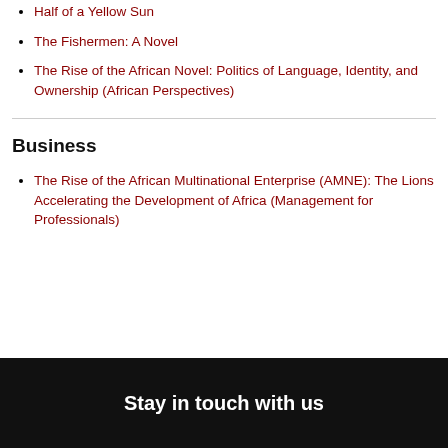Half of a Yellow Sun
The Fishermen: A Novel
The Rise of the African Novel: Politics of Language, Identity, and Ownership (African Perspectives)
Business
The Rise of the African Multinational Enterprise (AMNE): The Lions Accelerating the Development of Africa (Management for Professionals)
Stay in touch with us